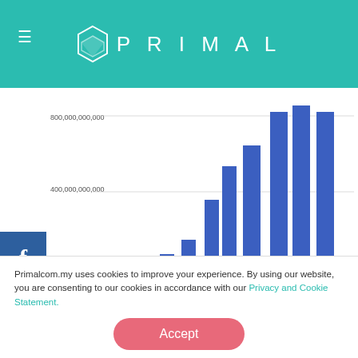PRIMAL
[Figure (bar-chart): Google search volumes over time]
Entering keywords into the search bar prompts Google to generate both organic and paid results.
Organic search results are those produced through the use of Search Engine Optimisation (SEO) keywords
Primalcom.my uses cookies to improve your experience. By using our website, you are consenting to our cookies in accordance with our Privacy and Cookie Statement.